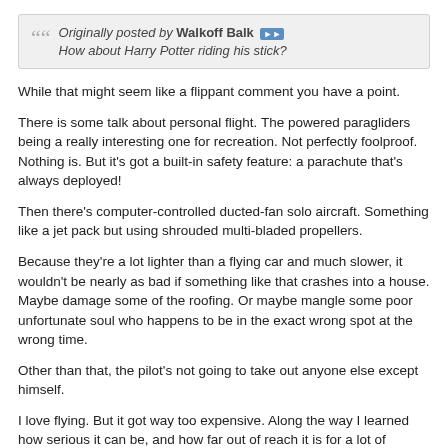Originally posted by Walkoff Balk
How about Harry Potter riding his stick?
While that might seem like a flippant comment you have a point.
There is some talk about personal flight. The powered paragliders being a really interesting one for recreation. Not perfectly foolproof. Nothing is. But it's got a built-in safety feature: a parachute that's always deployed!
Then there's computer-controlled ducted-fan solo aircraft. Something like a jet pack but using shrouded multi-bladed propellers.
Because they're a lot lighter than a flying car and much slower, it wouldn't be nearly as bad if something like that crashes into a house. Maybe damage some of the roofing. Or maybe mangle some poor unfortunate soul who happens to be in the exact wrong spot at the wrong time.
Other than that, the pilot's not going to take out anyone else except himself.
I love flying. But it got way too expensive. Along the way I learned how serious it can be, and how far out of reach it is for a lot of people. Not because of cost, but because it takes a great deal more awareness to stay safe in a 3D space.